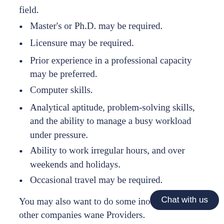field.
Master's or Ph.D. may be required.
Licensure may be required.
Prior experience in a professional capacity may be preferred.
Computer skills.
Analytical aptitude, problem-solving skills, and the ability to manage a busy workload under pressure.
Ability to work irregular hours, and over weekends and holidays.
Occasional travel may be required.
You may also want to do some in... find out what other companies wan... Providers.